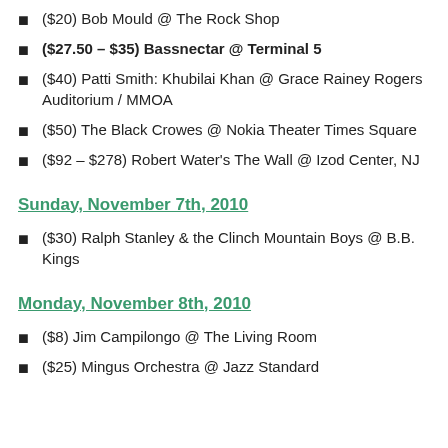($20) Bob Mould @ The Rock Shop
($27.50 – $35) Bassnectar @ Terminal 5
($40) Patti Smith: Khubilai Khan @ Grace Rainey Rogers Auditorium / MMOA
($50) The Black Crowes @ Nokia Theater Times Square
($92 – $278) Robert Water's The Wall @ Izod Center, NJ
Sunday, November 7th, 2010
($30) Ralph Stanley & the Clinch Mountain Boys @ B.B. Kings
Monday, November 8th, 2010
($8) Jim Campilongo @ The Living Room
($25) Mingus Orchestra @ Jazz Standard